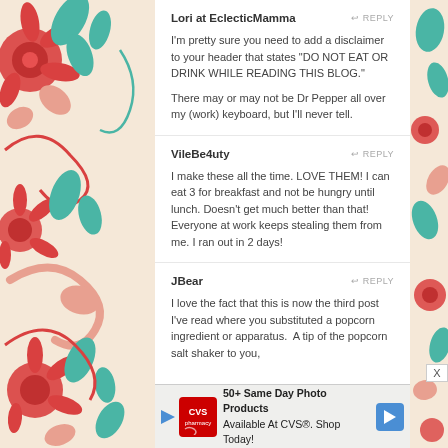[Figure (illustration): Decorative floral pattern on left side panel with red, teal, and pink flowers and leaves on cream background]
Lori at EclecticMamma
REPLY
I'm pretty sure you need to add a disclaimer to your header that states "DO NOT EAT OR DRINK WHILE READING THIS BLOG."

There may or may not be Dr Pepper all over my (work) keyboard, but I'll never tell.
VileBe4uty
REPLY
I make these all the time. LOVE THEM! I can eat 3 for breakfast and not be hungry until lunch. Doesn't get much better than that! Everyone at work keeps stealing them from me. I ran out in 2 days!
JBear
REPLY
I love the fact that this is now the third post I've read where you substituted a popcorn ingredient or apparatus.  A tip of the popcorn salt shaker to you,
50+ Same Day Photo Products Available At CVS®. Shop Today!